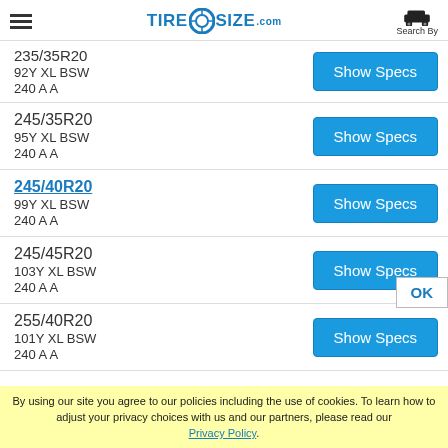TIRESIZE.com – Search By
235/35R20
92Y XL BSW
240 A A
245/35R20
95Y XL BSW
240 A A
245/40R20
99Y XL BSW
240 A A
245/45R20
103Y XL BSW
240 A A
255/40R20
101Y XL BSW
240 A A
By using our site you agree to our policies including the use of cookies. To learn how to adjust your privacy choices with us and our partners, please read our Privacy Policy.